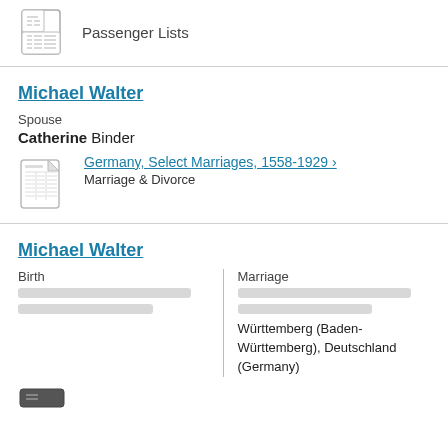[Figure (illustration): Document/list icon representing Passenger Lists]
Passenger Lists
Michael Walter
Spouse
Catherine Binder
[Figure (illustration): Document icon representing a record]
Germany, Select Marriages, 1558-1929 > Marriage & Divorce
Michael Walter
Birth
Marriage
Württemberg (Baden-Württemberg), Deutschland (Germany)
[Figure (illustration): Document icon at bottom]